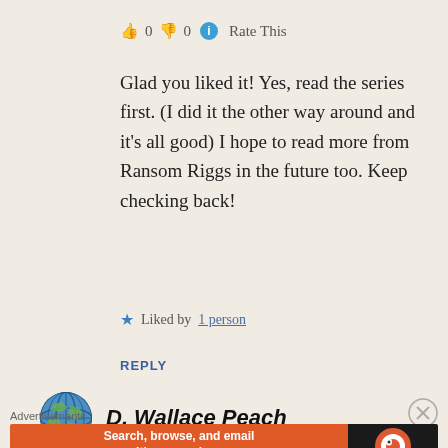👍 0 👎 0 ℹ Rate This
Glad you liked it! Yes, read the series first. (I did it the other way around and it's all good) I hope to read more from Ransom Riggs in the future too. Keep checking back!
★ Liked by 1 person
REPLY
D. Wallace Peach
Advertisements
[Figure (screenshot): DuckDuckGo advertisement banner: orange background with text 'Search, browse, and email with more privacy. All in One Free App' and DuckDuckGo logo on dark background]